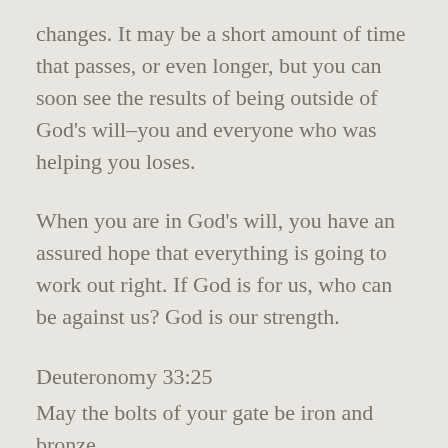changes. It may be a short amount of time that passes, or even longer, but you can soon see the results of being outside of God's will–you and everyone who was helping you loses.
When you are in God's will, you have an assured hope that everything is going to work out right. If God is for us, who can be against us? God is our strength.
Deuteronomy 33:25
May the bolts of your gate be iron and bronze,